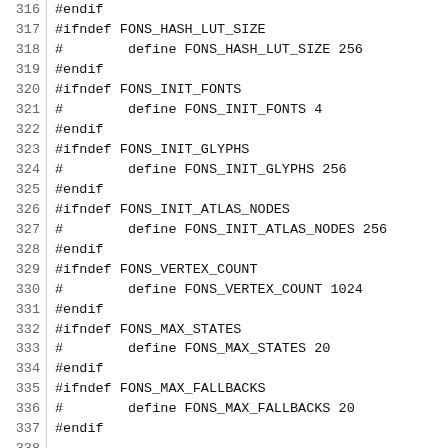Code listing lines 316-345 showing C preprocessor definitions and a hash function
316  #endif
317  #ifndef FONS_HASH_LUT_SIZE
318  #        define FONS_HASH_LUT_SIZE 256
319  #endif
320  #ifndef FONS_INIT_FONTS
321  #        define FONS_INIT_FONTS 4
322  #endif
323  #ifndef FONS_INIT_GLYPHS
324  #        define FONS_INIT_GLYPHS 256
325  #endif
326  #ifndef FONS_INIT_ATLAS_NODES
327  #        define FONS_INIT_ATLAS_NODES 256
328  #endif
329  #ifndef FONS_VERTEX_COUNT
330  #        define FONS_VERTEX_COUNT 1024
331  #endif
332  #ifndef FONS_MAX_STATES
333  #        define FONS_MAX_STATES 20
334  #endif
335  #ifndef FONS_MAX_FALLBACKS
336  #        define FONS_MAX_FALLBACKS 20
337  #endif
338
339  static unsigned int fons__hashint(unsigned in
340  {
341          a += ~(a<<15);
342          a ^=  (a>>10);
343          a +=  (a<<3);
344          a ^=  (a>>6);
345          a += ~(a<<11);